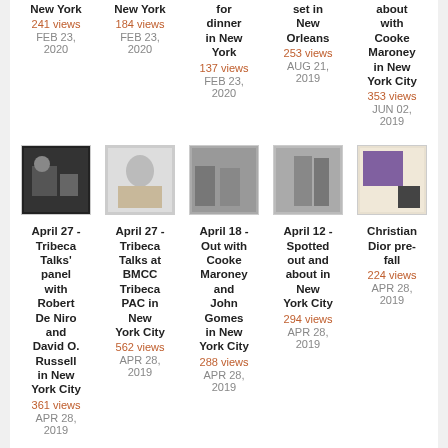New York
241 views
FEB 23, 2020
New York
184 views
FEB 23, 2020
for dinner in New York
137 views
FEB 23, 2020
set in New Orleans
253 views
AUG 21, 2019
about with Cooke Maroney in New York City
353 views
JUN 02, 2019
[Figure (photo): Photo thumbnail of April 27 - Tribeca Talks panel]
[Figure (photo): Photo thumbnail of April 27 - Tribeca Talks at BMCC]
[Figure (photo): Photo thumbnail of April 18 - Out with Cooke Maroney and John Gomes]
[Figure (photo): Photo thumbnail of April 12 - Spotted out and about]
[Figure (photo): Photo thumbnail of Christian Dior pre-fall]
April 27 - Tribeca Talks' panel with Robert De Niro and David O. Russell in New York City
361 views
APR 28, 2019
April 27 - Tribeca Talks at BMCC Tribeca PAC in New York City
562 views
APR 28, 2019
April 18 - Out with Cooke Maroney and John Gomes in New York City
288 views
APR 28, 2019
April 12 - Spotted out and about in New York City
294 views
APR 28, 2019
Christian Dior pre-fall
224 views
APR 28, 2019